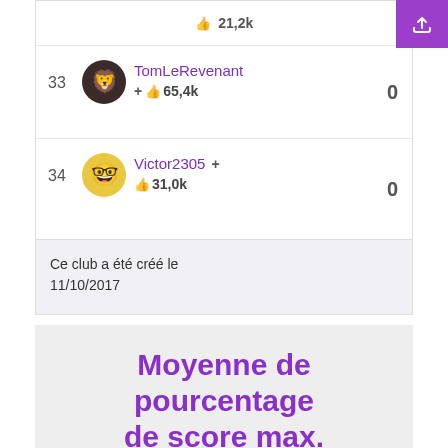|  | 21,2k |  |
| 33 | TomLeRevenant | 0 | +👍 65,4k |
| 34 | Victor2305 + | 0 | 👍 31,0k |
Ce club a été créé le 11/10/2017
Moyenne de pourcentage de score max.
Chaque jeu a un score maximal.